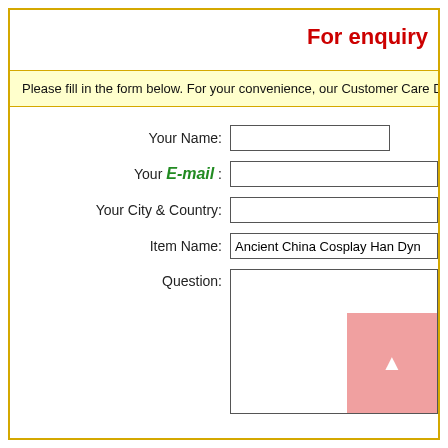For enquiry
Please fill in the form below. For your convenience, our Customer Care Department
Your Name:
Your E-mail :
Your City & Country:
Item Name: Ancient China Cosplay Han Dyn
Question: